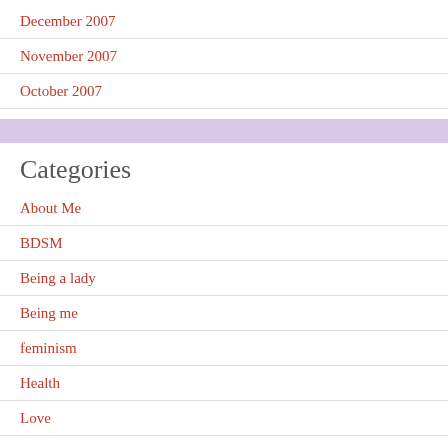December 2007
November 2007
October 2007
Categories
About Me
BDSM
Being a lady
Being me
feminism
Health
Love
People
Planning
Poetry